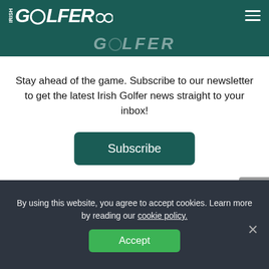IRISH GOLFER
[Figure (logo): Irish Golfer logo repeated in dark teal banner]
Stay ahead of the game. Subscribe to our newsletter to get the latest Irish Golfer news straight to your inbox!
Subscribe
1 Comment
MBleakley on 19th June 2021 at 11:25
By using this website, you agree to accept cookies. Learn more by reading our cookie policy.
Accept